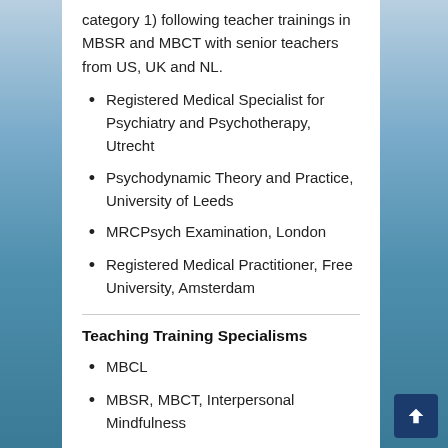category 1) following teacher trainings in MBSR and MBCT with senior teachers from US, UK and NL.
Registered Medical Specialist for Psychiatry and Psychotherapy, Utrecht
Psychodynamic Theory and Practice, University of Leeds
MRCPsych Examination, London
Registered Medical Practitioner, Free University, Amsterdam
Teaching Training Specialisms
MBCL
MBSR, MBCT, Interpersonal Mindfulness
Working with mindfulness and compassion in